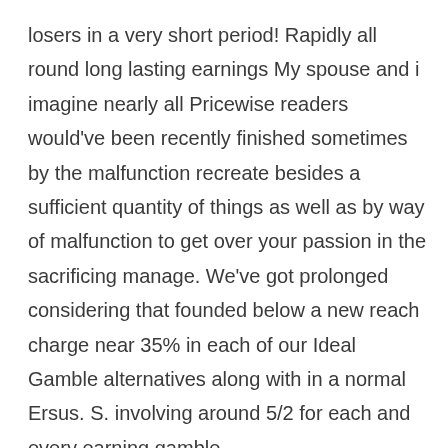losers in a very short period! Rapidly all round long lasting earnings My spouse and i imagine nearly all Pricewise readers would've been recently finished sometimes by the malfunction recreate besides a sufficient quantity of things as well as by way of malfunction to get over your passion in the sacrificing manage. We've got prolonged considering that founded below a new reach charge near 35% in each of our Ideal Gamble alternatives along with in a normal Ersus. S. involving around 5/2 for each and every earning gamble.